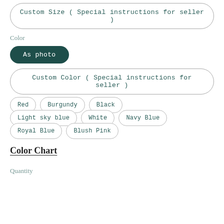Custom Size ( Special instructions for seller )
Color
As photo
Custom Color ( Special instructions for seller )
Red
Burgundy
Black
Light sky blue
White
Navy Blue
Royal Blue
Blush Pink
Color Chart
Quantity